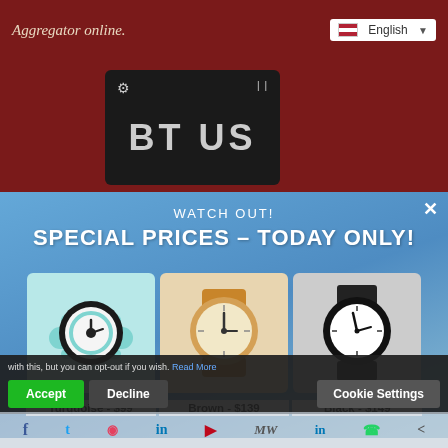Aggregator online.
English
[Figure (screenshot): BT US sign on dark background with gear and bars icons]
WATCH OUT!
SPECIAL PRICES – TODAY ONLY!
[Figure (photo): Turquoise watch with black case]
Turquoise - $99
[Figure (photo): Brown leather strap watch with wooden-look face]
Brown - $139
[Figure (photo): Black watch with minimalist white face]
Black - $149
See all products
Powered by poptin
with this, but you can opt-out if you wish. Read More
Accept  Decline  Cookie Settings